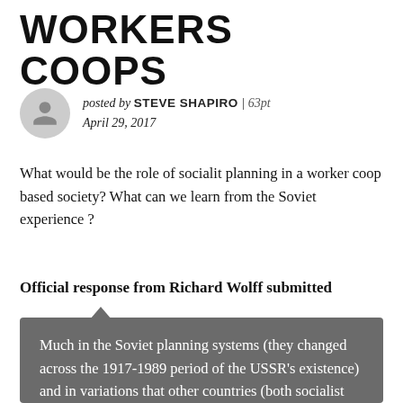WORKERS COOPS
posted by STEVE SHAPIRO | 63pt
April 29, 2017
What would be the role of socialit planning in a worker coop based society? What can we learn from the Soviet experience ?
Official response from Richard Wolff submitted
Much in the Soviet planning systems (they changed across the 1917-1989 period of the USSR's existence) and in variations that other countries (both socialist and not) experimented with can and would be brought to bear in a new economic system that comprised a planned distribution of resources and products plus a worker coop organization of enterprises. You can already see some of what this